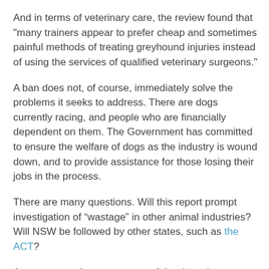And in terms of veterinary care, the review found that "many trainers appear to prefer cheap and sometimes painful methods of treating greyhound injuries instead of using the services of qualified veterinary surgeons."
A ban does not, of course, immediately solve the problems it seeks to address. There are dogs currently racing, and people who are financially dependent on them. The Government has committed to ensure the welfare of dogs as the industry is wound down, and to provide assistance for those losing their jobs in the process.
There are many questions. Will this report prompt investigation of “wastage” in other animal industries? Will NSW be followed by other states, such as the ACT?
As someone who treats some of the dogs that are “rescued” from this industry (and not all are suitable for rehoming), I believe this is a very positive step for animal welfare and an impressive stance by the Government.